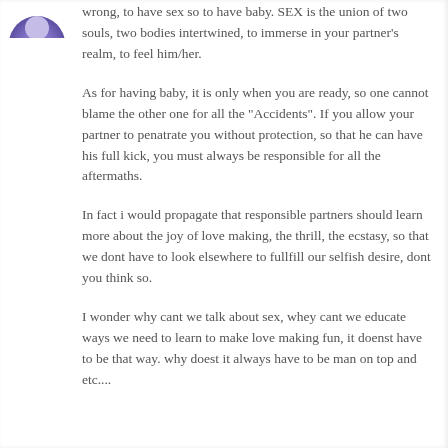[Figure (illustration): Partial purple/blue avatar or profile icon visible in top-left corner]
wrong, to have sex so to have baby. SEX is the union of two souls, two bodies intertwined, to immerse in your partner's realm, to feel him/her.
As for having baby, it is only when you are ready, so one cannot blame the other one for all the "Accidents". If you allow your partner to penatrate you without protection, so that he can have his full kick, you must always be responsible for all the aftermaths.
In fact i would propagate that responsible partners should learn more about the joy of love making, the thrill, the ecstasy, so that we dont have to look elsewhere to fullfill our selfish desire, dont you think so.
I wonder why cant we talk about sex, whey cant we educate ways we need to learn to make love making fun, it doenst have to be that way. why doest it always have to be man on top and etc....